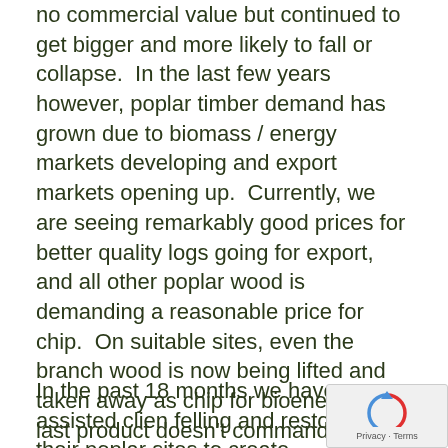no commercial value but continued to get bigger and more likely to fall or collapse.  In the last few years however, poplar timber demand has grown due to biomass / energy markets developing and export markets opening up.  Currently, we are seeing remarkably good prices for better quality logs going for export, and all other poplar wood is demanding a reasonable price for chip.  On suitable sites, even the branch wood is now being lifted and taken away as chip for bioenergy. This last product doesn't command a high price but can significantly reduce ground preparation costs for the following plantation.
In the past 18 months we have assisted clien felling and restocking their poplar sites to create
[Figure (other): reCAPTCHA logo with 'Privacy - Terms' text overlay in bottom-right corner]